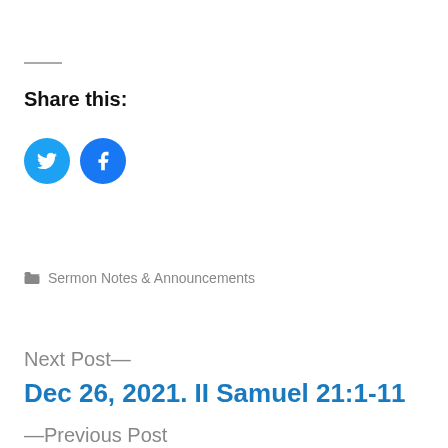Share this:
[Figure (illustration): Two circular social media share buttons: Twitter (blue bird icon) and Facebook (blue f icon)]
Sermon Notes & Announcements
Next Post—
Dec 26, 2021. II Samuel 21:1-11
—Previous Post